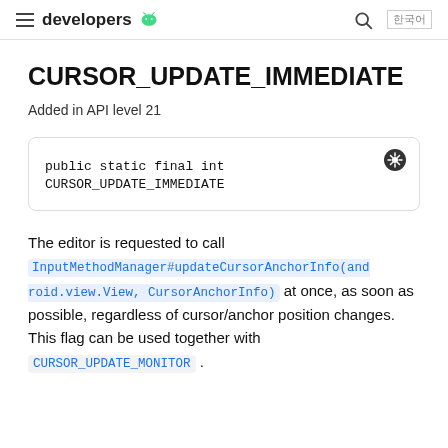developers
CURSOR_UPDATE_IMMEDIATE
Added in API level 21
The editor is requested to call InputMethodManager#updateCursorAnchorInfo(android.view.View, CursorAnchorInfo) at once, as soon as possible, regardless of cursor/anchor position changes. This flag can be used together with CURSOR_UPDATE_MONITOR .